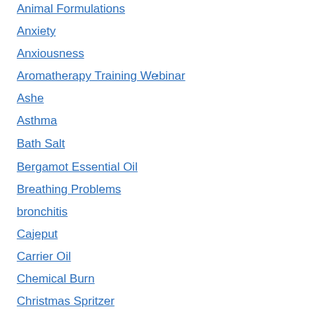Animal Formulations
Anxiety
Anxiousness
Aromatherapy Training Webinar
Ashe
Asthma
Bath Salt
Bergamot Essential Oil
Breathing Problems
bronchitis
Cajeput
Carrier Oil
Chemical Burn
Christmas Spritzer
Cinnamon Bark Essential Oil
Cinnamon Essential Oil
Cinnamon leaf Essential Oil
Clean
Clean the Scalp